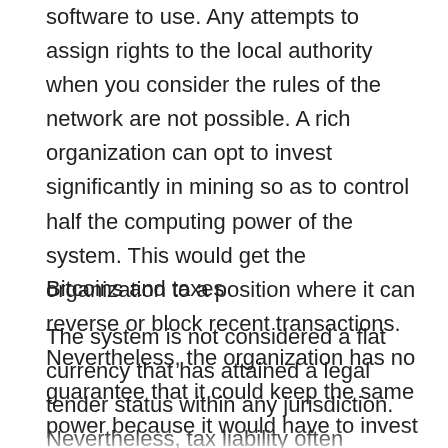software to use. Any attempts to assign rights to the local authority when you consider the rules of the network are not possible. A rich organization can opt to invest significantly in mining so as to control half the computing power of the system. This would get the organization to a position where it can reverse or block recent transactions. Nevertheless, the organization has no guarantee that it could keep the same power because it would have to invest more than all the other miners around the globe.
Bitcoins and taxes
The system is not considered a flat currency that has attained a legal tender status within any jurisdiction. Nevertheless, tax liability often accrues regardless the medium used. A variety of legislation exists in different jurisdictions which causes sales, income, capital gains